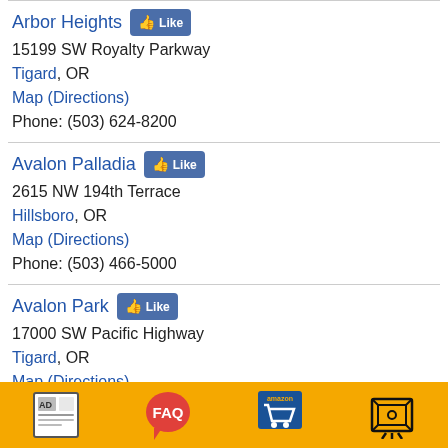Arbor Heights
15199 SW Royalty Parkway
Tigard, OR
Map (Directions)
Phone: (503) 624-8200
Avalon Palladia
2615 NW 194th Terrace
Hillsboro, OR
Map (Directions)
Phone: (503) 466-5000
Avalon Park
17000 SW Pacific Highway
Tigard, OR
Map (Directions)
Phone: (503) 684-0189
[Figure (other): Footer navigation bar with orange background containing four icons: AD (advertisement page icon), FAQ (red speech bubble), Amazon shopping cart, and a camera/projector icon.]